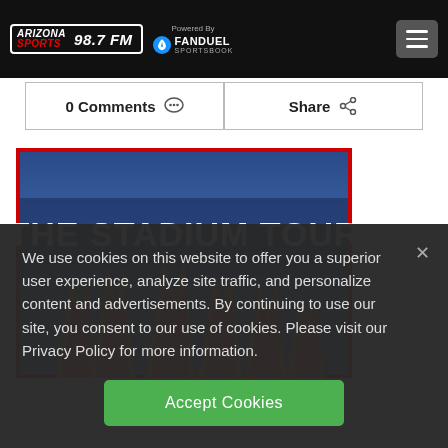Arizona Sports 98.7 FM — Powered By FanDuel Sportsbook
0 Comments   Share
[Figure (photo): The Stadium Tour concert promotional image with text 'THE STADIUM TOUR' in bold white letters on a blue background with orange/yellow flame guitar-pick shapes below]
We use cookies on this website to offer you a superior user experience, analyze site traffic, and personalize content and advertisements. By continuing to use our site, you consent to our use of cookies. Please visit our Privacy Policy for more information.
Accept Cookies